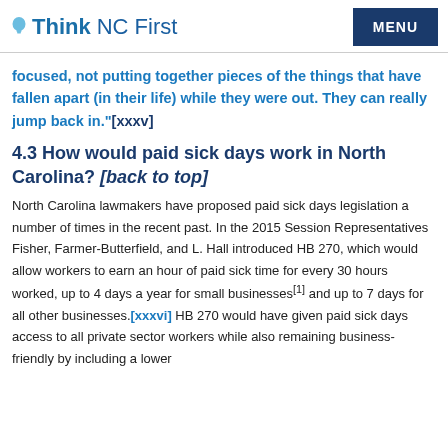Think NC First | MENU
focused, not putting together pieces of the things that have fallen apart (in their life) while they were out. They can really jump back in."[xxxv]
4.3 How would paid sick days work in North Carolina? [back to top]
North Carolina lawmakers have proposed paid sick days legislation a number of times in the recent past. In the 2015 Session Representatives Fisher, Farmer-Butterfield, and L. Hall introduced HB 270, which would allow workers to earn an hour of paid sick time for every 30 hours worked, up to 4 days a year for small businesses[1] and up to 7 days for all other businesses.[xxxvi] HB 270 would have given paid sick days access to all private sector workers while also remaining business-friendly by including a lower